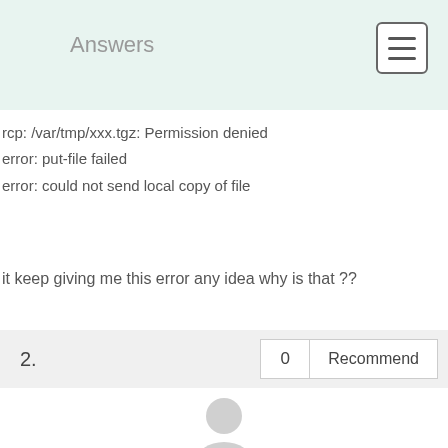Answers
rcp: /var/tmp/xxx.tgz: Permission denied
error: put-file failed
error: could not send local copy of file
it keep giving me this error any idea why is that ??
2.
[Figure (illustration): Generic user avatar silhouette in light gray]